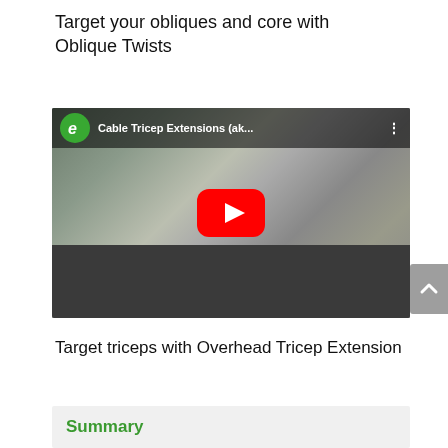Target your obliques and core with Oblique Twists
[Figure (screenshot): YouTube video thumbnail showing a man performing Cable Tricep Extensions in a gym, with the video title 'Cable Tricep Extensions (ak...' and a red YouTube play button overlay. A green 'e' logo appears in the top-left corner of the video player.]
Target triceps with Overhead Tricep Extension
Summary